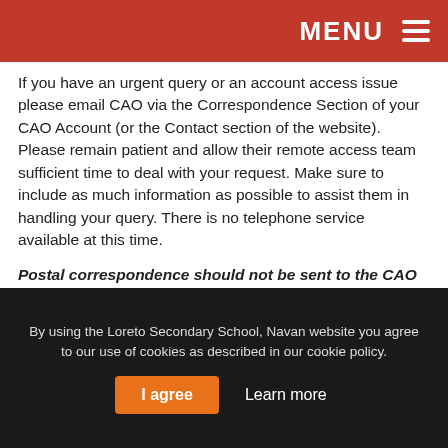MENU ☰
If you have an urgent query or an account access issue please email CAO via the Correspondence Section of your CAO Account (or the Contact section of the website). Please remain patient and allow their remote access team sufficient time to deal with your request. Make sure to include as much information as possible to assist them in handling your query. There is no telephone service available at this time.
Postal correspondence should not be sent to the CAO office at this time. Applicants who are required to supply documentation to support their application are asked to wait until the restrictions are lifted before posting such documents. Some processing restrictions will be…
By using the Loreto Secondary School, Navan website you agree to our use of cookies as described in our cookie policy.
I agree   Learn more